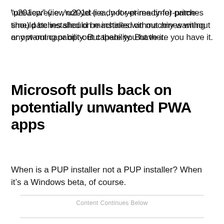“preview” (i.e., not-yet-ready-for-prime-time) patches should be installed on machines without any warning or opt-out capability. But there you have it.
Microsoft pulls back on potentially unwanted PWA apps
When is a PUP installer not a PUP installer? When it’s a Windows beta, of course.
Content Continues Below